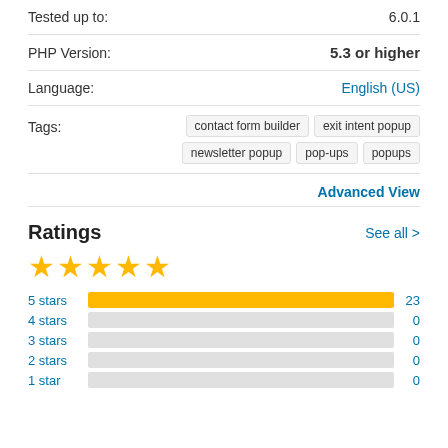Tested up to: 6.0.1
PHP Version: 5.3 or higher
Language: English (US)
Tags: contact form builder, exit intent popup, newsletter popup, pop-ups, popups
Advanced View
Ratings
[Figure (bar-chart): Ratings]